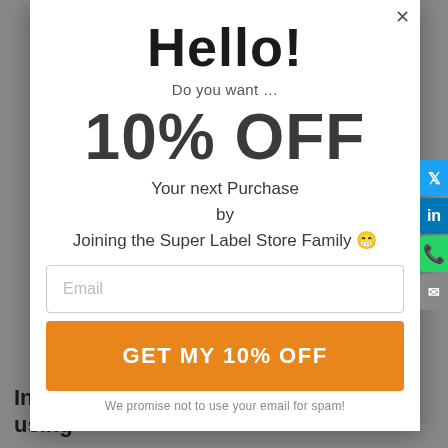Hello!
Do you want …
10% OFF
Your next Purchase
by
Joining the Super Label Store Family 😀
Email
GET MY 10% OFF
We promise not to use your email for spam!
In 1930, the fashion industry started using